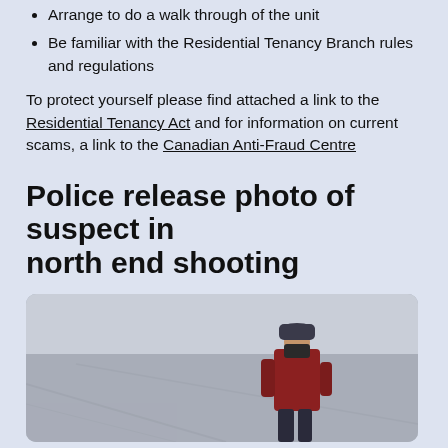Arrange to do a walk through of the unit
Be familiar with the Residential Tenancy Branch rules and regulations
To protect yourself please find attached a link to the Residential Tenancy Act and for information on current scams, a link to the Canadian Anti-Fraud Centre
Police release photo of suspect in north end shooting
[Figure (photo): Surveillance-style photo of a person wearing a dark baseball cap, dark mask covering the lower face, and a red/dark top, walking outdoors on what appears to be a road or parking lot surface]